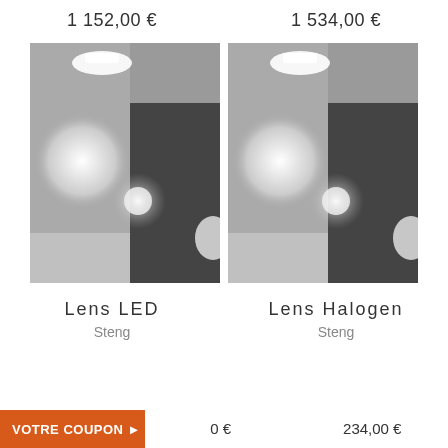1 152,00 €
1 534,00 €
[Figure (photo): Photo of Lens LED lighting product mounted on ceiling and wall in a room]
[Figure (photo): Photo of Lens Halogen lighting product mounted on ceiling and wall in a room]
Lens LED
Lens Halogen
Steng
Steng
VOTRE COUPON 🏷
234,00 €